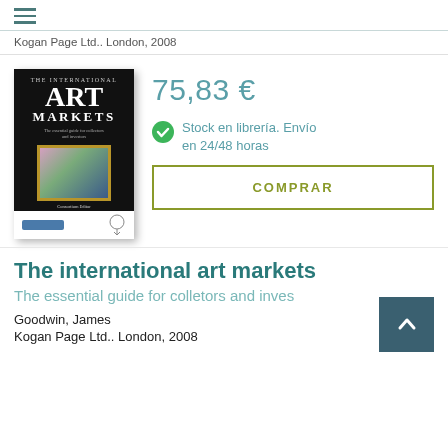≡
Kogan Page Ltd.. London, 2008
[Figure (photo): Book cover of 'The International Art Markets' edited by James Goodwin, published by Kogan Page, black cover with gold frame artwork]
75,83 €
Stock en librería. Envío en 24/48 horas
COMPRAR
The international art markets
The essential guide for colletors and inves
Goodwin, James
Kogan Page Ltd.. London, 2008